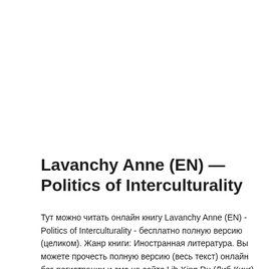Lavanchy Anne (EN) — Politics of Interculturality
Тут можно читать онлайн книгу Lavanchy Anne (EN) - Politics of Interculturality - бесплатно полную версию (целиком). Жанр книги: Иностранная литература. Вы можете прочесть полную версию (весь текст) онлайн без регистрации и смс на сайте Lib-King.Ru (Либ-Кинг) или прочитать краткое содержание, аннотацию (предисловие),